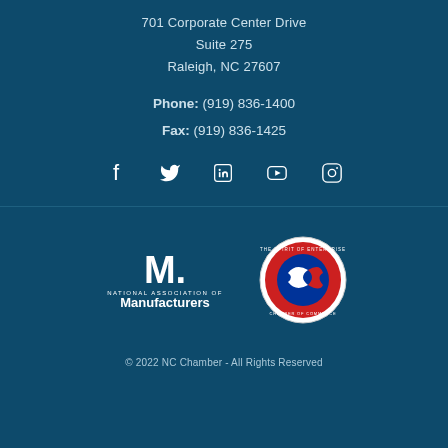701 Corporate Center Drive
Suite 275
Raleigh, NC 27607
Phone: (919) 836-1400
Fax: (919) 836-1425
[Figure (other): Social media icons row: Facebook, Twitter, LinkedIn, YouTube, Instagram]
[Figure (logo): National Association of Manufacturers logo (white M. mark with text)]
[Figure (logo): U.S. Chamber of Commerce Spirit of Enterprise circular seal badge]
© 2022 NC Chamber - All Rights Reserved